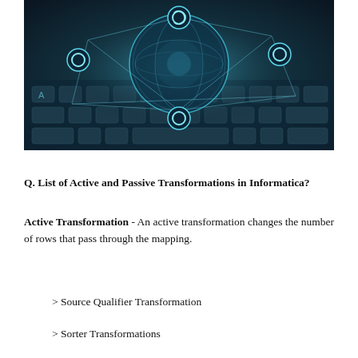[Figure (photo): A technology-themed image showing a holographic globe with network connection icons and circular arrows overlaid on a dark keyboard background, in blue-teal tones.]
Q. List of Active and Passive Transformations in Informatica?
Active Transformation - An active transformation changes the number of rows that pass through the mapping.
> Source Qualifier Transformation
> Sorter Transformations